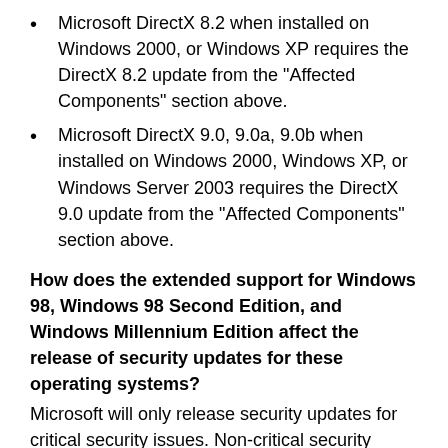Microsoft DirectX 8.2 when installed on Windows 2000, or Windows XP requires the DirectX 8.2 update from the "Affected Components" section above.
Microsoft DirectX 9.0, 9.0a, 9.0b when installed on Windows 2000, Windows XP, or Windows Server 2003 requires the DirectX 9.0 update from the "Affected Components" section above.
How does the extended support for Windows 98, Windows 98 Second Edition, and Windows Millennium Edition affect the release of security updates for these operating systems?
Microsoft will only release security updates for critical security issues. Non-critical security issues are not offered during this support period. For more information about the Microsoft Support Lifecycle policies for these operating systems, visit the following Web site
For more information about severity ratings, visit the